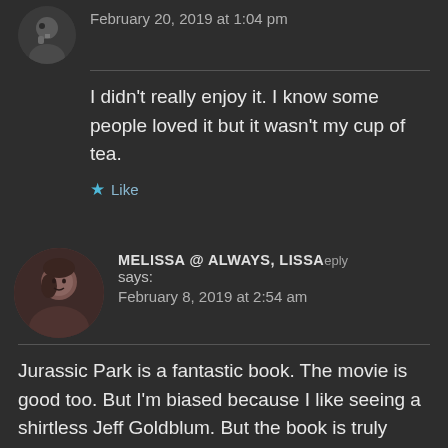February 20, 2019 at 1:04 pm
I didn't really enjoy it. I know some people loved it but it wasn't my cup of tea.
Like
MELISSA @ ALWAYS, LISSA Reply says:
February 8, 2019 at 2:54 am
Jurassic Park is a fantastic book. The movie is good too. But I'm biased because I like seeing a shirtless Jeff Goldblum. But the book is truly fantastic. The Lost World books is